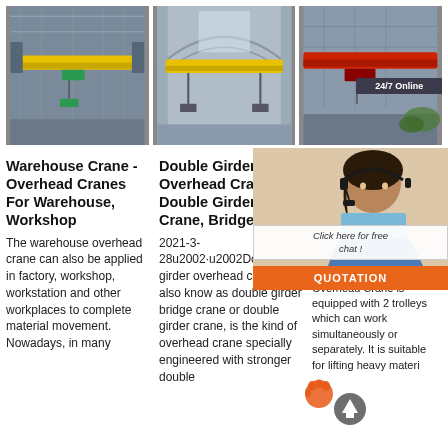[Figure (photo): Yellow overhead crane inside an industrial warehouse with steel roof structure]
[Figure (photo): Double girder overhead crane with yellow beam inside a large building with arched roof]
[Figure (photo): Red double girder overhead crane inside an industrial facility with a 24/7 online customer service chat overlay featuring a woman with a headset]
Warehouse Crane - Overhead Cranes For Warehouse, Workshop
The warehouse overhead crane can also be applied in factory, workshop, workstation and other workplaces to complete material movement. Nowadays, in many
Double Girder Overhead Crane - Double Girder Crane, Bridge ...
2021-3-28u2002·u2002Double girder overhead crane, also know as double girder bridge crane or double girder crane, is the kind of overhead crane specially engineered with stronger double
QE-Double Girder Crane FineW
2021-9-17u2002 Double Girder Overhead Crane. QE Double Girder Overhead Crane is equipped with 2 trolleys which can work simultaneously or separately. It is suitable for lifting heavy materials from
[Figure (infographic): 24/7 Online customer service overlay with woman wearing headset, Click here for free chat button, and QUOTATION orange button]